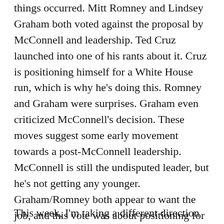things occurred. Mitt Romney and Lindsey Graham both voted against the proposal by McConnell and leadership. Ted Cruz launched into one of his rants about it. Cruz is positioning himself for a White House run, which is why he's doing this. Romney and Graham were surprises. Graham even criticized McConnell's decision. These moves suggest some early movement towards a post-McConnell leadership. McConnell is still the undisputed leader, but he's not getting any younger. Graham/Romney both appear to want the job, and this vote was about positioning for that role.
This week, I'm taking a different direction and